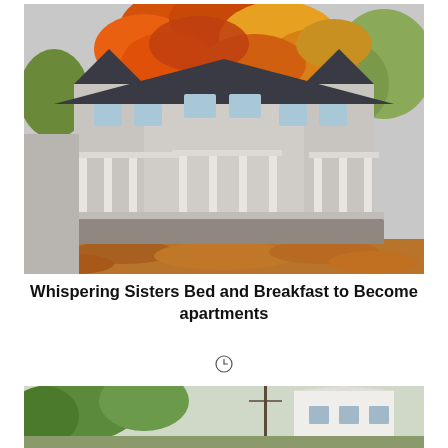[Figure (photo): Victorian-style Whispering Sisters Bed and Breakfast building in autumn, with orange and red maple tree in front and fallen leaves covering the ground. White columned wrap-around porch and turrets visible.]
Whispering Sisters Bed and Breakfast to Become apartments
[Figure (photo): Partial view of another building with green trees in background, bottom of page.]